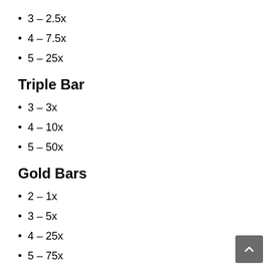3 – 2.5x
4 – 7.5x
5 – 25x
Triple Bar
3 – 3x
4 – 10x
5 – 50x
Gold Bars
2 – 1x
3 – 5x
4 – 25x
5 – 75x